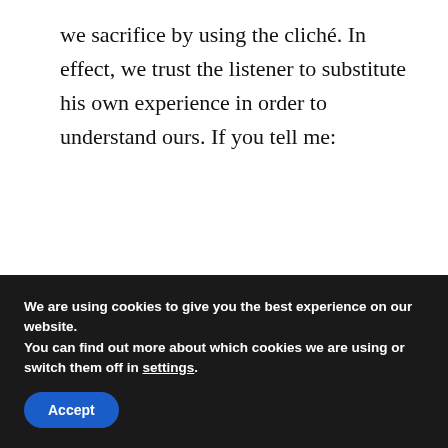we sacrifice by using the cliché. In effect, we trust the listener to substitute his own experience in order to understand ours. If you tell me:
I'm feeling under the weather today.
We are using cookies to give you the best experience on our website.
You can find out more about which cookies we are using or switch them off in settings.
Accept